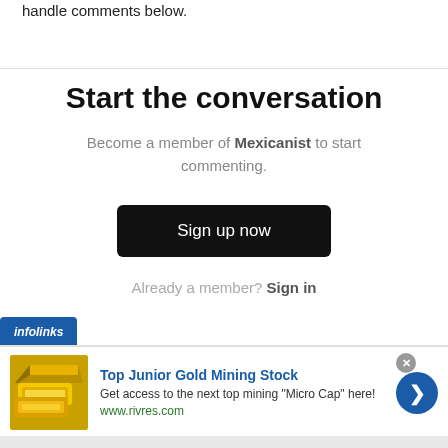handle comments below.
Start the conversation
Become a member of Mexicanist to start commenting.
Sign up now
Already a member? Sign in
[Figure (infographic): Infolinks advertisement banner for Top Junior Gold Mining Stock with gold bar image, text, and navigation arrow button.]